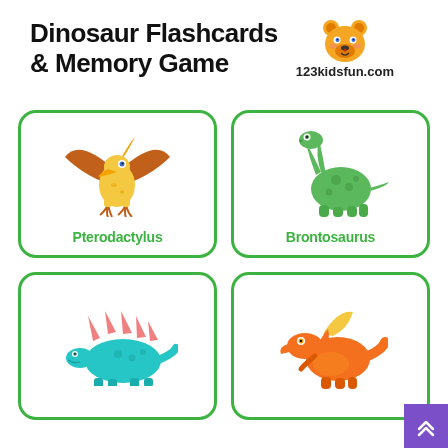Dinosaur Flashcards & Memory Game
123kidsfun.com
[Figure (illustration): Cute cartoon pterodactylus dinosaur, yellow with orange wings]
Pterodactylus
[Figure (illustration): Cute cartoon brontosaurus dinosaur, green with spots]
Brontosaurus
[Figure (illustration): Cute cartoon stegosaurus dinosaur, teal with pink spikes]
[Figure (illustration): Cute cartoon spinosaurus dinosaur, orange with yellow fin]